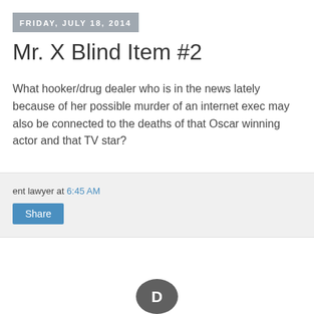FRIDAY, JULY 18, 2014
Mr. X Blind Item #2
What hooker/drug dealer who is in the news lately because of her possible murder of an internet exec may also be connected to the deaths of that Oscar winning actor and that TV star?
ent lawyer at 6:45 AM
Share